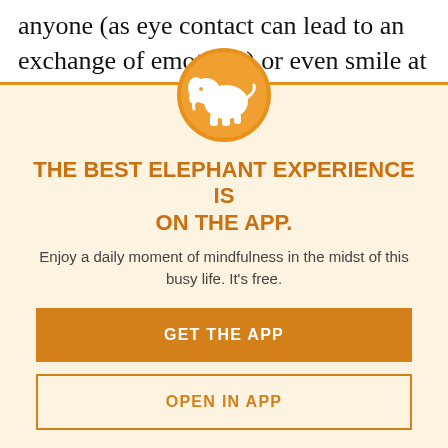anyone (as eye contact can lead to an exchange of emotions) or even smile at
someone. To let out our emotions, we weren't allowed to read or write. Instead, the idea was to feel the emotions and deal with them internally. from the outside look for a to recover from heartbreak. This was the first time when I was realizing that the solutions to the hardest problems are within
[Figure (logo): Orange circle with white elephant silhouette icon]
THE BEST ELEPHANT EXPERIENCE IS ON THE APP.
Enjoy a daily moment of mindfulness in the midst of this busy life. It's free.
GET THE APP
OPEN IN APP